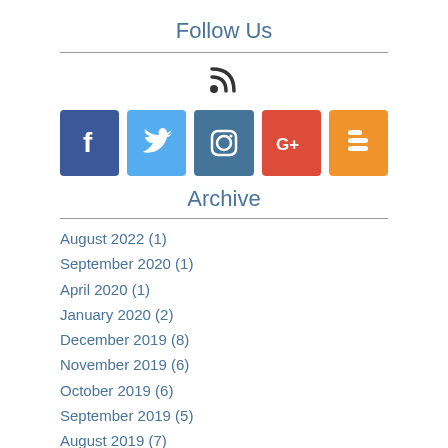Follow Us
[Figure (infographic): RSS feed icon and social media icons: Facebook, Twitter, Instagram, Google+, Blogger]
Archive
August 2022 (1)
September 2020 (1)
April 2020 (1)
January 2020 (2)
December 2019 (8)
November 2019 (6)
October 2019 (6)
September 2019 (5)
August 2019 (7)